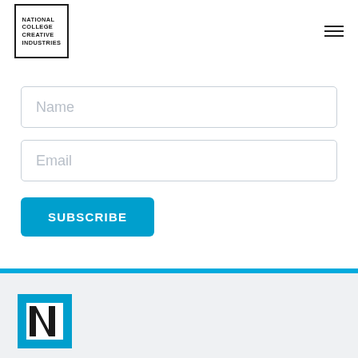National College Creative Industries — navigation header with logo and hamburger menu
[Figure (logo): National College Creative Industries logo — black bordered box with text: NATIONAL COLLEGE CREATIVE INDUSTRIES]
[Figure (infographic): Hamburger menu icon (three horizontal lines)]
Name
Email
SUBSCRIBE
[Figure (logo): National College Creative Industries logo mark — blue square with stylized N letterform in black and white]